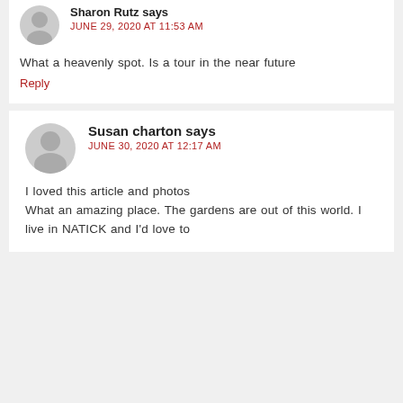Sharon Rutz says
JUNE 29, 2020 AT 11:53 AM

What a heavenly spot. Is a tour in the near future
Reply
Susan charton says
JUNE 30, 2020 AT 12:17 AM

I loved this article and photos
What an amazing place. The gardens are out of this world. I live in NATICK and I'd love to